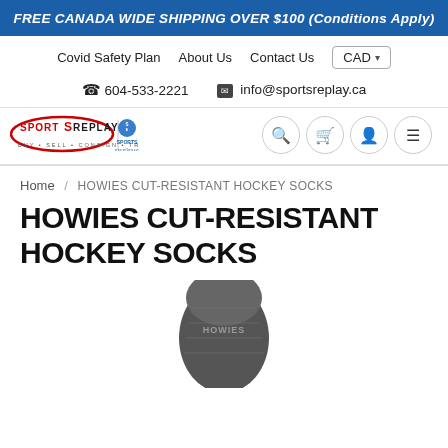FREE CANADA WIDE SHIPPING OVER $100 (Conditions Apply)
Covid Safety Plan  About Us  Contact Us  CAD
604-533-2221  info@sportsreplay.ca
[Figure (logo): Sports Replay logo with Sports Excellence logo beside it, and navigation icons (search, cart, account, menu)]
Home / HOWIES CUT-RESISTANT HOCKEY SOCKS
HOWIES CUT-RESISTANT HOCKEY SOCKS
[Figure (photo): Partial view of a dark grey hockey sock product image]